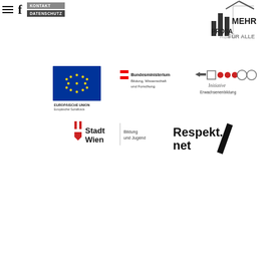[Figure (logo): Navigation area with hamburger menu, Facebook icon, KONTAKT and DATENSCHUTZ buttons]
[Figure (logo): PROSA Mehr für Alle logo with bar chart and house icon]
[Figure (logo): EU Europäische Union Europäischer Sozialfonds logo]
[Figure (logo): Bundesministerium Bildung, Wissenschaft und Forschung logo with Austrian flag]
[Figure (logo): Initiative Erwachsenenbildung logo with geometric shapes]
[Figure (logo): Stadt Wien Bildung und Jugend logo]
[Figure (logo): Respekt.net logo]